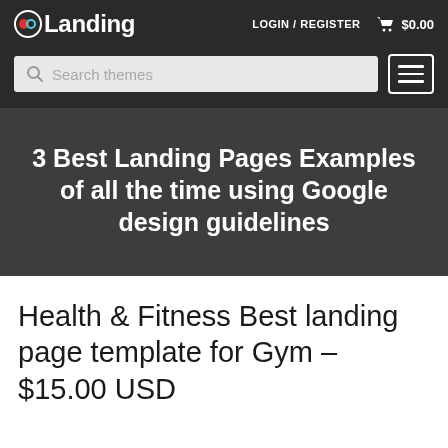oLanding  LOGIN / REGISTER  $0.00
[Figure (screenshot): Search themes input field with magnifying glass icon and hamburger menu button]
3 Best Landing Pages Examples of all the time using Google design guidelines
Health & Fitness Best landing page template for Gym – $15.00 USD